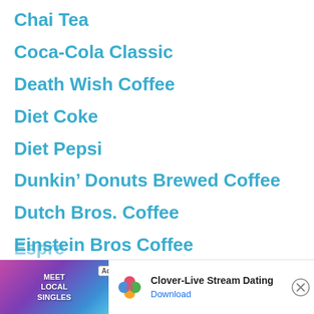Chai Tea
Coca-Cola Classic
Death Wish Coffee
Diet Coke
Diet Pepsi
Dunkin' Donuts Brewed Coffee
Dutch Bros. Coffee
Einstein Bros Coffee
Espre…
[Figure (other): Advertisement banner: Clover-Live Stream Dating app ad with photo of person, Meet Local Singles text, Clover heart-suits logo, Download button]